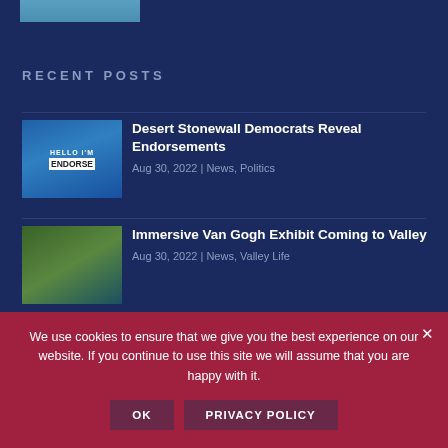[Figure (photo): Partial cropped image at top of sidebar]
RECENT POSTS
[Figure (photo): Thumbnail image with HELLO ENDORSE text - Desert Stonewall Democrats endorsement]
Desert Stonewall Democrats Reveal Endorsements
Aug 30, 2022 | News, Politics
[Figure (photo): Thumbnail image of Van Gogh exhibit colorful scene]
Immersive Van Gogh Exhibit Coming to Valley
Aug 30, 2022 | News, Valley Life
[Figure (photo): Thumbnail image with orange/red tones - Top Fifty Readers Program]
Top Fifty Readers Program Delivers Results
We use cookies to ensure that we give you the best experience on our website. If you continue to use this site we will assume that you are happy with it.
OK   PRIVACY POLICY